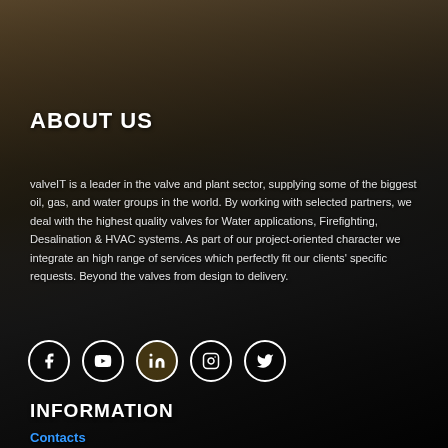[Figure (photo): Background photo of industrial machinery and wooden surfaces with dark overlay]
ABOUT US
valveIT is a leader in the valve and plant sector, supplying some of the biggest oil, gas, and water groups in the world. By working with selected partners, we deal with the highest quality valves for Water applications, Firefighting, Desalination & HVAC systems. As part of our project-oriented character we integrate an high range of services which perfectly fit our clients' specific requests. Beyond the valves from design to delivery.
[Figure (infographic): Row of five social media icons in white circles: Facebook, YouTube, LinkedIn, Instagram, Twitter]
INFORMATION
Contacts